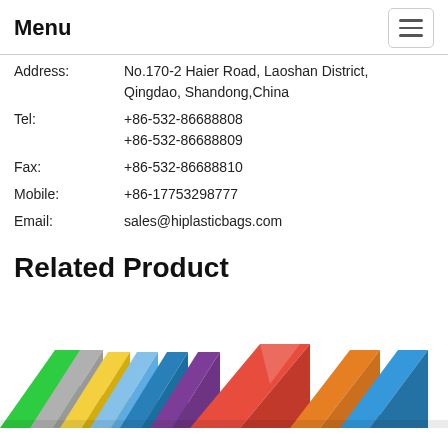Menu
Address: No.170-2 Haier Road, Laoshan District, Qingdao, Shandong,China
Tel: +86-532-86688808 +86-532-86688809
Fax: +86-532-86688810
Mobile: +86-17753298777
Email: sales@hiplasticbags.com
Related Product
[Figure (photo): A fan of colorful plastic document folders/bags arranged in a row, showing green, grey, yellow, blue, purple, red and other colors]